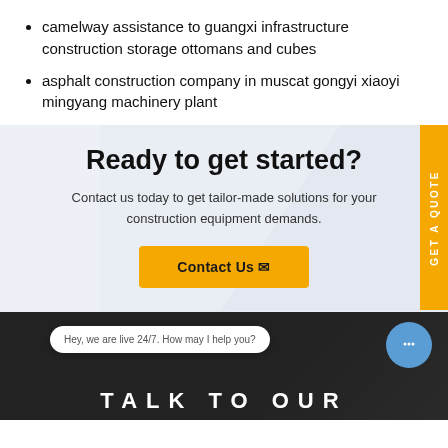camelway assistance to guangxi infrastructure construction storage ottomans and cubes
asphalt construction company in muscat gongyi xiaoyi mingyang machinery plant
Ready to get started?
Contact us today to get tailor-made solutions for your construction equipment demands.
Contact Us
GET A QUOTE
Hey, we are live 24/7. How may I help you?
TALK TO OUR